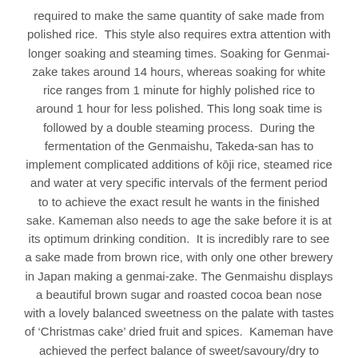required to make the same quantity of sake made from polished rice. This style also requires extra attention with longer soaking and steaming times. Soaking for Genmai-zake takes around 14 hours, whereas soaking for white rice ranges from 1 minute for highly polished rice to around 1 hour for less polished. This long soak time is followed by a double steaming process. During the fermentation of the Genmaishu, Takeda-san has to implement complicated additions of kōji rice, steamed rice and water at very specific intervals of the ferment period to to achieve the exact result he wants in the finished sake. Kameman also needs to age the sake before it is at its optimum drinking condition. It is incredibly rare to see a sake made from brown rice, with only one other brewery in Japan making a genmai-zake. The Genmaishu displays a beautiful brown sugar and roasted cocoa bean nose with a lovely balanced sweetness on the palate with tastes of 'Christmas cake' dried fruit and spices. Kameman have achieved the perfect balance of sweet/savoury/dry to make this a well balanced sake with great palate weight. As this sake ages it develops into even richer, more complex flavours. This is an interesting sake to match with food as it can be paired with